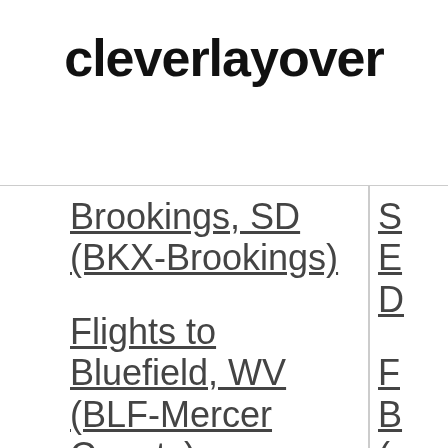cleverlayover
Brookings, SD (BKX-Brookings)
Flights to Bluefield, WV (BLF-Mercer County)